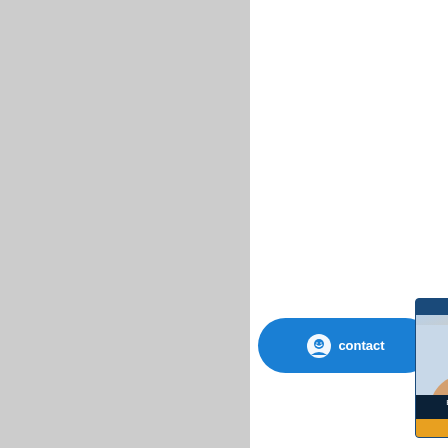[Figure (photo): Gray placeholder panel on left side of page]
China Double Row Angular Contact Ball Bearings Angular Contact Ball Bearings TVH FAG 3303B. TVH 3303-B- 3304B.
FAG 3802-B-2Z-
Quality Angular Contact 3303-B-TVH from C
FAG 3802-B-2Z-TVH bear
Deep groove ball bearing 3805 specialist at your service for ov
FAG 3 bear
3802-2Z bearings 3802-B-2Z-T
[Figure (photo): 24/7 Online customer support popup with woman wearing headset, message text and Quotation button]
[Figure (illustration): Blue contact chat widget button with smiley face icon and 'contact' text]